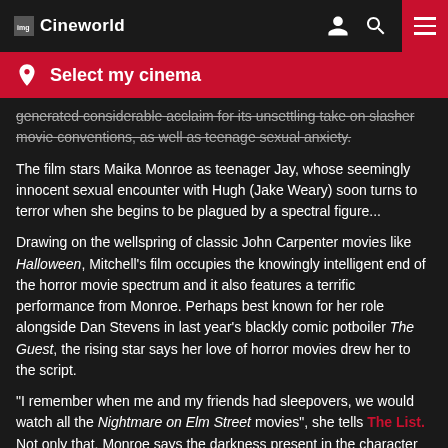Cineworld
Select my cinema
generated considerable acclaim for its unsettling take on slasher movie conventions, as well as teenage sexual anxiety.
The film stars Maika Monroe as teenager Jay, whose seemingly innocent sexual encounter with Hugh (Jake Weary) soon turns to terror when she begins to be plagued by a spectral figure...
Drawing on the wellspring of classic John Carpenter movies like Halloween, Mitchell's film occupies the knowingly intelligent end of the horror movie spectrum and it also features a terrific performance from Monroe. Perhaps best known for her role alongside Dan Stevens in last year's blackly comic potboiler The Guest, the rising star says her love of horror movies drew her to the script.
"I remember when me and my friends had sleepovers, we would watch all the Nightmare on Elm Street movies", she tells The List. Not only that, Monroe says the darkness present in the character of Jay provided more weighty substance than the standard slasher flick.
"I felt that my character was in a very dark place for most of the movie, so on set I would keep headphones in my ears and stay distant", she